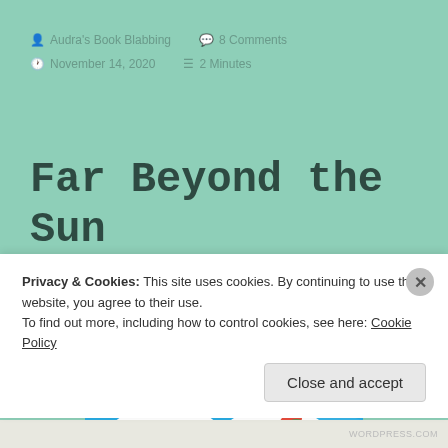Audra's Book Blabbing  8 Comments  November 14, 2020  2 Minutes
Far Beyond the Sun ~Book Review~
[Figure (illustration): Book cover for 'Far Beyond the Sun' showing a blue sky with white clouds and cursive 'Far' text, plus a green and red leaf/sprout icon]
Privacy & Cookies: This site uses cookies. By continuing to use this website, you agree to their use.
To find out more, including how to control cookies, see here: Cookie Policy
Close and accept